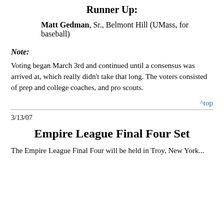Runner Up:
Matt Gedman, Sr., Belmont Hill (UMass, for baseball)
Note:
Voting began March 3rd and continued until a consensus was arrived at, which really didn't take that long. The voters consisted of prep and college coaches, and pro scouts.
^top
3/13/07
Empire League Final Four Set
The Empire League Final Four will be held in Troy, New York...